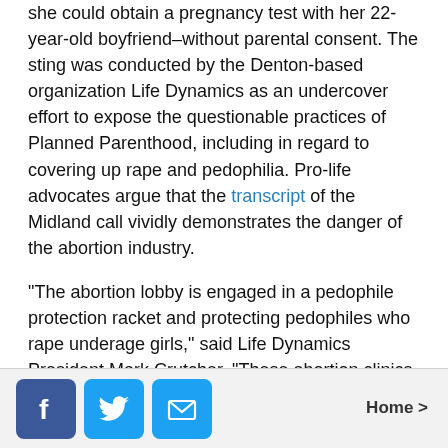she could obtain a pregnancy test with her 22-year-old boyfriend–without parental consent. The sting was conducted by the Denton-based organization Life Dynamics as an undercover effort to expose the questionable practices of Planned Parenthood, including in regard to covering up rape and pedophilia. Pro-life advocates argue that the transcript of the Midland call vividly demonstrates the danger of the abortion industry.
“The abortion lobby is engaged in a pedophile protection racket and protecting pedophiles who rape underage girls,” said Life Dynamics President Mark Crutcher. “These abortion clinics receive
[Figure (infographic): Social share buttons footer bar with Facebook (blue), Twitter (blue), and Email (blue) icons on the left, and a 'Home >' navigation link on the right, on a light gray background.]